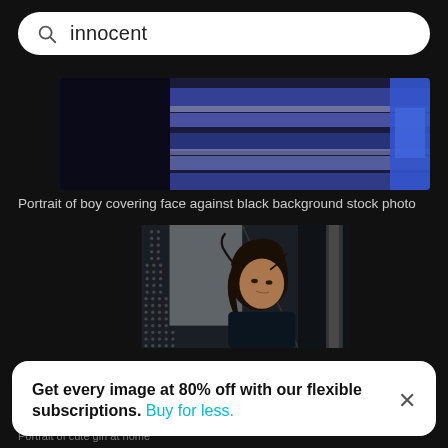innocent
[Figure (photo): Partial view of a boy in striped blue and purple clothing against a dark background — stock photo]
Portrait of boy covering face against black background stock photo
[Figure (photo): Portrait of a young girl with dark hair wearing a dark shirt, looking down, with a blurred dotted background]
Get every image at 80% off with our flexible subscriptions. Buy for less.
Portrait of cute girl at home